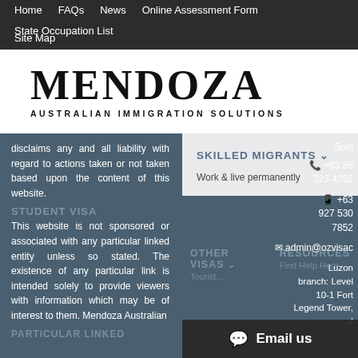Home  FAQs  News  Online Assessment Form  State Occupation List  Site Map
[Figure (logo): Mendoza Australian Immigration Solutions logo — large serif MENDOZA wordmark with subtitle AUSTRALIAN IMMIGRATION SOLUTIONS]
disclaims any and all liability with regard to actions taken or not taken based upon the content of this website.
This website is not sponsored or associated with any particular linked entity unless so stated. The existence of any particular link is intended solely to provide viewers with information which may be of interest to them. Mendoza Australian
SKILLED MIGRANTS ∨
Work & live permanently
5pm
+63 88 323 4252
+63 927 530 7852
admin@ozvisac
Luzon branch: Level 10-1 Fort Legend Tower, d
Email us